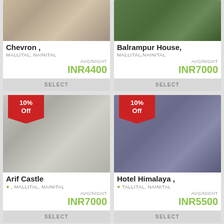[Figure (screenshot): Hotel listing app screenshot showing 4 hotel cards with images, names, locations, prices and select buttons. Top row: Chevron (MALLITAL, NAINITAL, INR4400/night) and Balrampur House (MALLITAL, NAINITAL, INR7000/night). Middle row: Arif Castle with 10% Off badge (MALLITAL, NAINITAL, INR7000/night) and Hotel Himalaya with 10% Off badge (TALLITAL, NAINITAL, INR5500/night). Bottom row: two partially visible hotel images.]